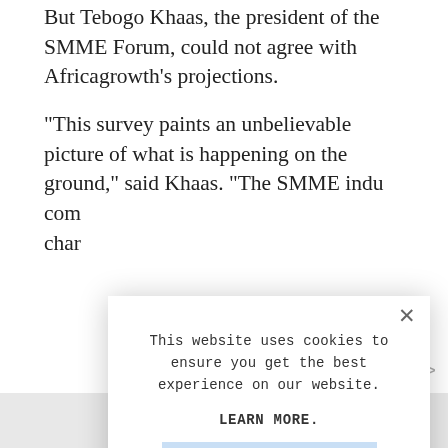But Tebogo Khaas, the president of the SMME Forum, could not agree with Africagrowth's projections.
"This survey paints an unbelievable picture of what is happening on the ground," said Khaas. "The SMME indu[stry is...] com[pletely...] char[ged...]
This website uses cookies to ensure you get the best experience on our website.

LEARN MORE.

ACCEPT COOKIES